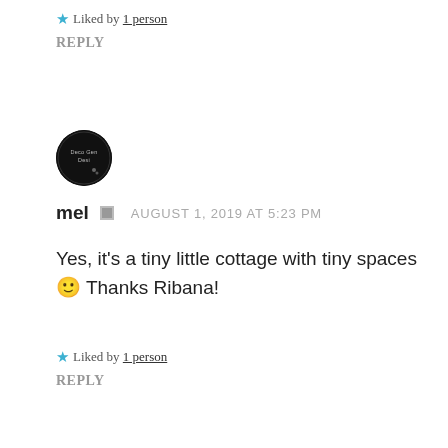★ Liked by 1 person
REPLY
[Figure (photo): Circular avatar image with dark/black background showing small text logo 'Deco Gen Desi']
mel  AUGUST 1, 2019 AT 5:23 PM
Yes, it's a tiny little cottage with tiny spaces 🙂 Thanks Ribana!
★ Liked by 1 person
REPLY